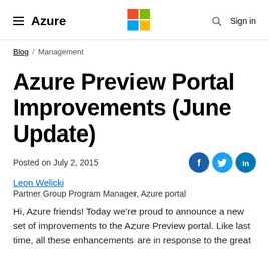Azure
Blog / Management
Azure Preview Portal Improvements (June Update)
Posted on July 2, 2015
[Figure (illustration): Social share buttons: Facebook, Twitter, LinkedIn]
Leon Welicki
Partner Group Program Manager, Azure portal
Hi, Azure friends! Today we’re proud to announce a new set of improvements to the Azure Preview portal. Like last time, all these enhancements are in response to the great